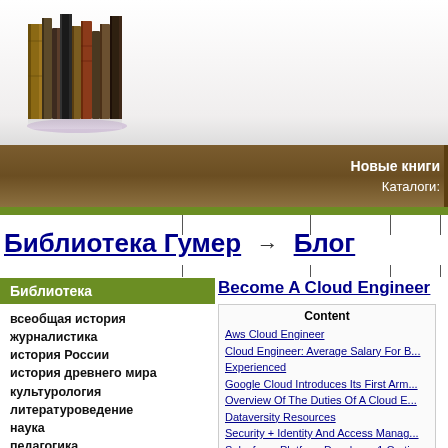[Figure (photo): Stack of old books standing upright, shown on a white/grey gradient background]
Новые книги
Каталоги:
Библиотека Гумер → Блог
Библиотека
всеобщая история
журналистика
история России
история древнего мира
культурология
литературоведение
наука
педагогика
политология
Become A Cloud Engineer
Content
Aws Cloud Engineer
Cloud Engineer: Average Salary For B... Experienced
Google Cloud Introduces Its First Arm...
Overview Of The Duties Of A Cloud E...
Dataversity Resources
Security + Identity And Access Manag...
Salesforce Platform Developer 1 Certi...